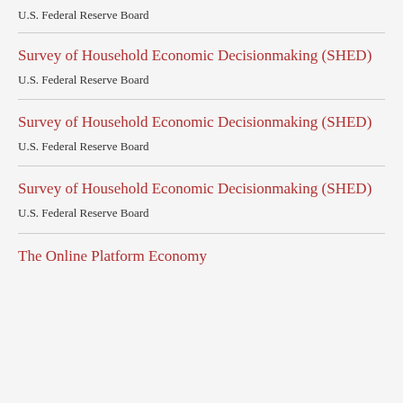U.S. Federal Reserve Board
Survey of Household Economic Decisionmaking (SHED)
U.S. Federal Reserve Board
Survey of Household Economic Decisionmaking (SHED)
U.S. Federal Reserve Board
Survey of Household Economic Decisionmaking (SHED)
U.S. Federal Reserve Board
The Online Platform Economy